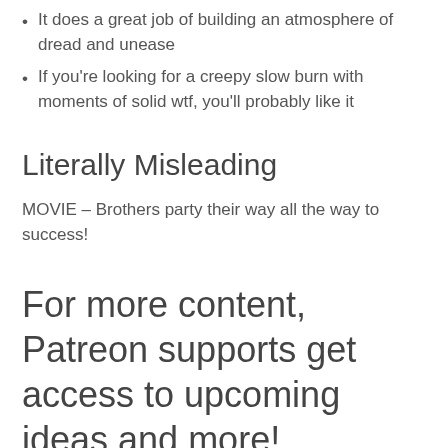It does a great job of building an atmosphere of dread and unease
If you're looking for a creepy slow burn with moments of solid wtf, you'll probably like it
Literally Misleading
MOVIE – Brothers party their way all the way to success!
For more content, Patreon supports get access to upcoming ideas and more!
A huge thanks to Dalton, for believing in us for so long. And thanks to all our 'fanily' that support us. And if you want to